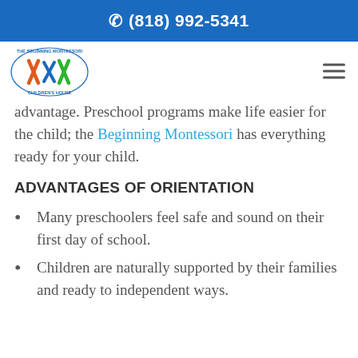(818) 992-5341
orientation session is done, both sides feel advantage. Preschool programs make life easier for the child; the Beginning Montessori has everything ready for your child.
ADVANTAGES OF ORIENTATION
Many preschoolers feel safe and sound on their first day of school.
Children are naturally supported by their families and ready to independent ways.